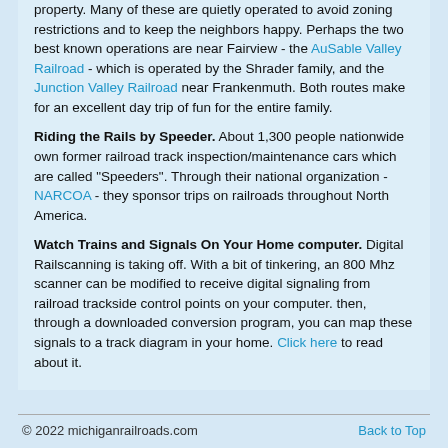property.  Many of these are quietly operated to avoid zoning restrictions and to keep the neighbors happy.  Perhaps the two best known operations are near Fairview - the AuSable Valley Railroad - which is operated by the Shrader family, and the Junction Valley Railroad near Frankenmuth.  Both routes make for an excellent day trip of fun for the entire family.
Riding the Rails by Speeder.  About 1,300 people nationwide own former railroad track inspection/maintenance cars which are called "Speeders".  Through their national organization - NARCOA - they sponsor trips on railroads throughout North America.
Watch Trains and Signals On Your Home computer.  Digital Railscanning is taking off.  With a bit of tinkering, an 800 Mhz scanner can be modified to receive digital signaling from railroad trackside control points on your computer.  then, through a downloaded conversion program, you can map these signals to a track diagram in your home.  Click here to read about it.
© 2022 michiganrailroads.com    Back to Top